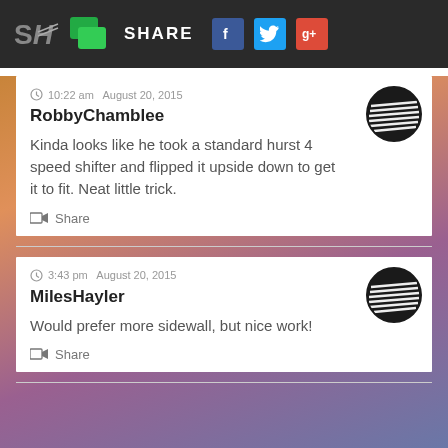SH SHARE [Facebook] [Twitter] [Google+]
10:22 am  August 20, 2015
RobbyChamblee
Kinda looks like he took a standard hurst 4 speed shifter and flipped it upside down to get it to fit. Neat little trick.
Share
3:43 pm  August 20, 2015
MilesHayler
Would prefer more sidewall, but nice work!
Share